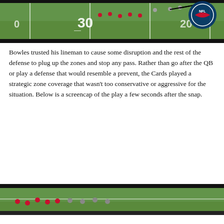[Figure (screenshot): NFL football game screencap showing players on field near the 30-yard line with play diagram arrows overlaid, NFL logo visible in top right corner]
Bowles trusted his lineman to cause some disruption and the rest of the defense to plug up the zones and stop any pass. Rather than go after the QB or play a defense that would resemble a prevent, the Cards played a strategic zone coverage that wasn't too conservative or aggressive for the situation. Below is a screencap of the play a few seconds after the snap.
[Figure (screenshot): NFL football game screencap showing players on field from end zone view, NFL logo visible, players in red uniforms visible on left side]